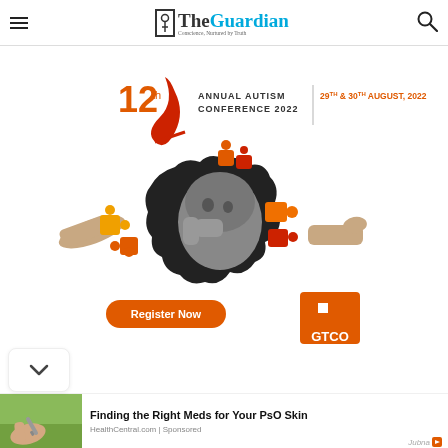The Guardian — Conscience, Nurtured by Truth
[Figure (infographic): 12th Annual Autism Conference 2022 advertisement banner. Shows puzzle pieces being arranged around a child's face. Text: 12th Annual Autism Conference 2022 | 29TH & 30TH AUGUST, 2022. Register Now button. GTCO logo.]
[Figure (photo): Photo of a hand holding a small object (medical/health related), green background]
Finding the Right Meds for Your PsO Skin
HealthCentral.com | Sponsored
Jubna [sponsored ad indicator]